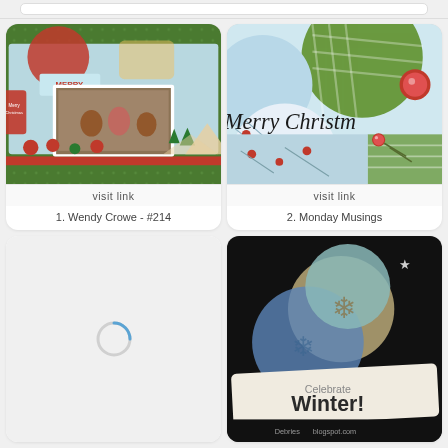[Figure (screenshot): Link party grid showing Christmas/winter themed cards and scrapbook pages. Top bar with search/navigation. Four cards in 2x2 grid: 1) Christmas scrapbook layout with photos, 2) Merry Christmas card, 3) Loading spinner placeholder, 4) Celebrate Winter card on dark background.]
visit link
1. Wendy Crowe - #214
visit link
2. Monday Musings